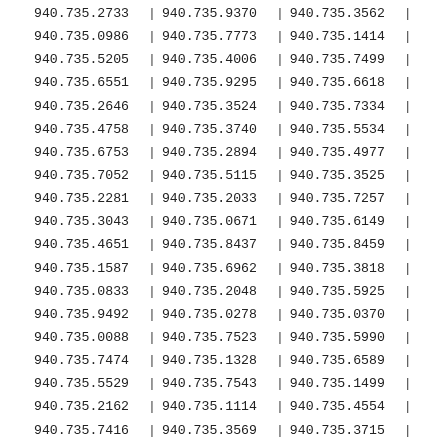| 940.735.2733 | | | 940.735.9370 | | | 940.735.3562 | | |
| 940.735.0986 | | | 940.735.7773 | | | 940.735.1414 | | |
| 940.735.5205 | | | 940.735.4006 | | | 940.735.7499 | | |
| 940.735.6551 | | | 940.735.9295 | | | 940.735.6618 | | |
| 940.735.2646 | | | 940.735.3524 | | | 940.735.7334 | | |
| 940.735.4758 | | | 940.735.3740 | | | 940.735.5534 | | |
| 940.735.6753 | | | 940.735.2894 | | | 940.735.4977 | | |
| 940.735.7052 | | | 940.735.5115 | | | 940.735.3525 | | |
| 940.735.2281 | | | 940.735.2033 | | | 940.735.7257 | | |
| 940.735.3043 | | | 940.735.0671 | | | 940.735.6149 | | |
| 940.735.4651 | | | 940.735.8437 | | | 940.735.8459 | | |
| 940.735.1587 | | | 940.735.6962 | | | 940.735.3818 | | |
| 940.735.0833 | | | 940.735.2048 | | | 940.735.5925 | | |
| 940.735.9492 | | | 940.735.0278 | | | 940.735.0370 | | |
| 940.735.0088 | | | 940.735.7523 | | | 940.735.5990 | | |
| 940.735.7474 | | | 940.735.1328 | | | 940.735.6589 | | |
| 940.735.5529 | | | 940.735.7543 | | | 940.735.1499 | | |
| 940.735.2162 | | | 940.735.1114 | | | 940.735.4554 | | |
| 940.735.7416 | | | 940.735.3569 | | | 940.735.3715 | | |